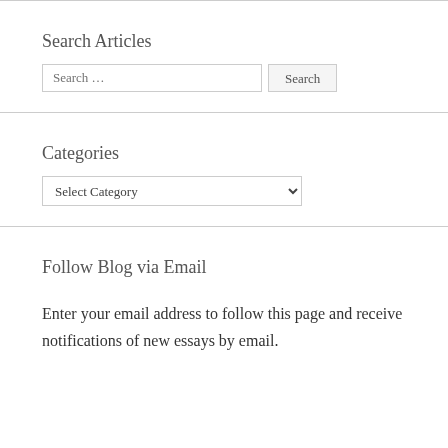Search Articles
Search …  Search
Categories
Select Category
Follow Blog via Email
Enter your email address to follow this page and receive notifications of new essays by email.